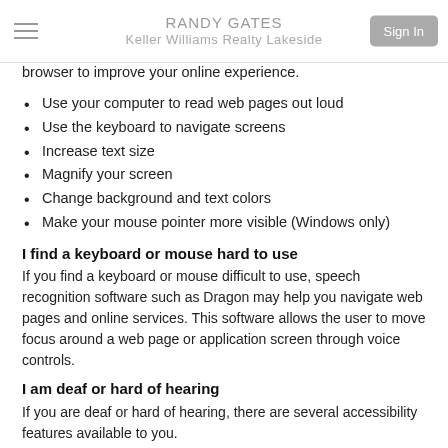RANDY GATES
Keller Williams Realty Lakeside
browser to improve your online experience.
Use your computer to read web pages out loud
Use the keyboard to navigate screens
Increase text size
Magnify your screen
Change background and text colors
Make your mouse pointer more visible (Windows only)
I find a keyboard or mouse hard to use
If you find a keyboard or mouse difficult to use, speech recognition software such as Dragon may help you navigate web pages and online services. This software allows the user to move focus around a web page or application screen through voice controls.
I am deaf or hard of hearing
If you are deaf or hard of hearing, there are several accessibility features available to you.